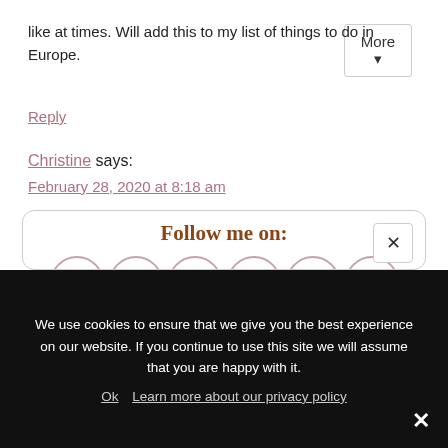like at times. Will add this to my list of things to do in Europe.
Reply
Christine says:
February 28, 2020 at 8:18 am
[Figure (infographic): Follow me on: box with social media icons (Facebook, Instagram, Pinterest, Twitter, Bloglovin, RSS) in pink circles, with handwritten-style title and newsletter signup text]
We use cookies to ensure that we give you the best experience on our website. If you continue to use this site we will assume that you are happy with it.
Ok   Learn more about our privacy policy